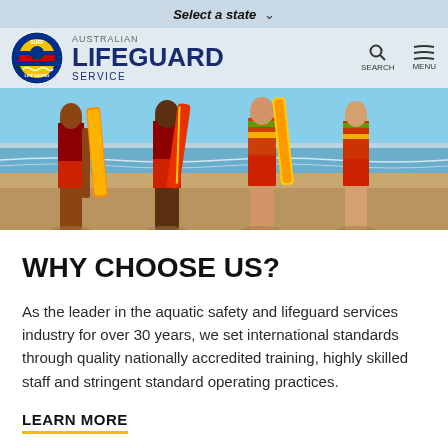[Figure (screenshot): Australian Lifeguard Service website screenshot showing navigation bar with 'Select a state' dropdown, logo with surf life saving circle emblem and 'AUSTRALIAN LIFEGUARD SERVICE' text, search and menu icons, and a hero photo of four lifeguards standing on a beach holding rescue boards, wearing red and yellow uniforms.]
WHY CHOOSE US?
As the leader in the aquatic safety and lifeguard services industry for over 30 years, we set international standards through quality nationally accredited training, highly skilled staff and stringent standard operating practices.
LEARN MORE